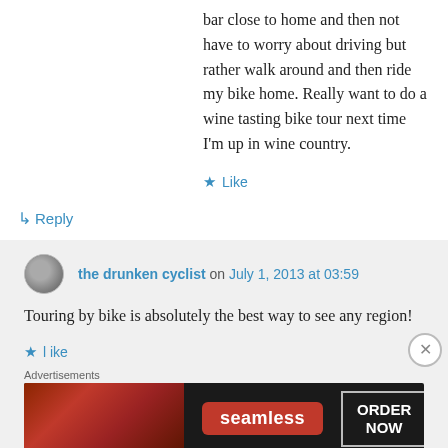bar close to home and then not have to worry about driving but rather walk around and then ride my bike home. Really want to do a wine tasting bike tour next time I'm up in wine country.
Like
↳ Reply
the drunken cyclist on July 1, 2013 at 03:59
Touring by bike is absolutely the best way to see any region!
Like
Advertisements
[Figure (photo): Seamless food delivery advertisement banner with pizza image and 'ORDER NOW' button]